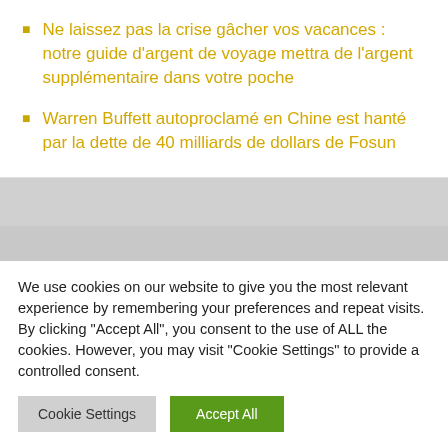Ne laissez pas la crise gâcher vos vacances : notre guide d'argent de voyage mettra de l'argent supplémentaire dans votre poche
Warren Buffett autoproclamé en Chine est hanté par la dette de 40 milliards de dollars de Fosun
We use cookies on our website to give you the most relevant experience by remembering your preferences and repeat visits. By clicking "Accept All", you consent to the use of ALL the cookies. However, you may visit "Cookie Settings" to provide a controlled consent.